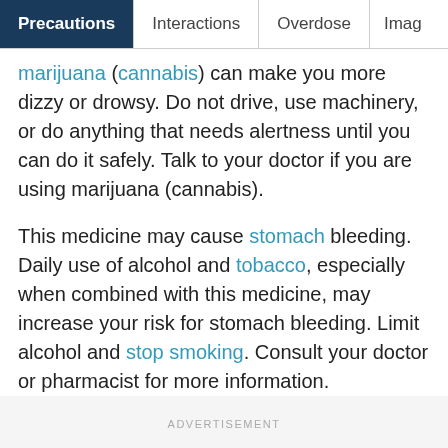Precautions | Interactions | Overdose | Imag…
marijuana (cannabis) can make you more dizzy or drowsy. Do not drive, use machinery, or do anything that needs alertness until you can do it safely. Talk to your doctor if you are using marijuana (cannabis).
This medicine may cause stomach bleeding. Daily use of alcohol and tobacco, especially when combined with this medicine, may increase your risk for stomach bleeding. Limit alcohol and stop smoking. Consult your doctor or pharmacist for more information.
ADVERTISEMENT